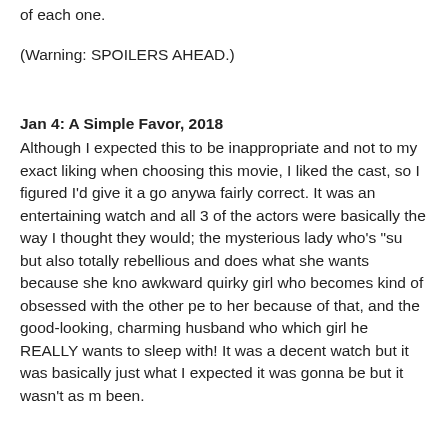of each one.
(Warning: SPOILERS AHEAD.)
Jan 4: A Simple Favor, 2018
Although I expected this to be inappropriate and not to my exact liking when choosing this movie, I liked the cast, so I figured I'd give it a go anyway. I was fairly correct. It was an entertaining watch and all 3 of the actors were basically the way I thought they would; the mysterious lady who's "su but also totally rebellious and does what she wants because she kno awkward quirky girl who becomes kind of obsessed with the other pe to her because of that, and the good-looking, charming husband who which girl he REALLY wants to sleep with! It was a decent watch but it was basically just what I expected it was gonna be but it wasn't as m been.
Jan 4: Cats, 2019
Well this was a mix of awesome and wacky. I like the musical Cats al weird it is, so the general lack of plot didn't bother me at all. I wasn't b the cats like some people were (though the cockroaches and mice we opening songs, I loved the Jellicle Ball, I LOVED the tap-dancing in th number, and I really liked Mr. Mistoffelees and his song. Idris Elba wa was pretty weird, and keeping the Addressing of Cats in was kind of